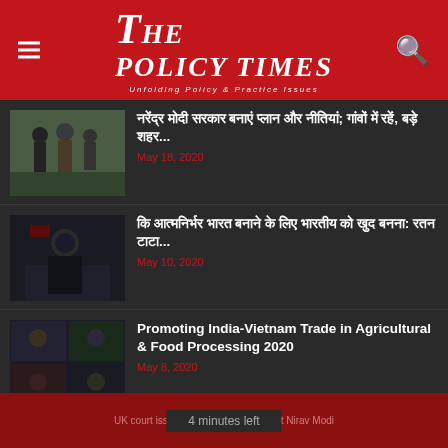THE POLICY TIMES — Unfolding Policy & Practice Issues
[Figure (photo): Photo of people walking on street, possibly migrants]
Hindi headline text 1; Hindi subtext...
May 18, 2020
[Figure (photo): Photo of Indian Prime Minister speaking at podium]
Hindi headline text 2: Hindi subtext...
May 10, 2020
[Figure (photo): Screenshot of video conference call with multiple participants]
Promoting India-Vietnam Trade in Agricultural & Food Processing 2020
May 8, 2020
POPULAR POSTS
UK court issues arrest warrant against Nirav Modi | 4 minutes left